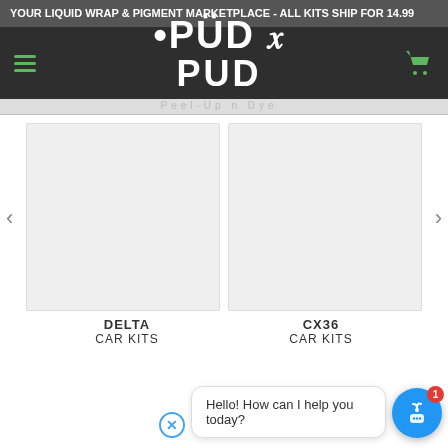YOUR LIQUID WRAP & PIGMENT MARKETPLACE - ALL KITS SHIP FOR 14.99
[Figure (logo): Peel-Up n Dye logo with hamburger menu and cart icon on dark background]
[Figure (screenshot): Two product cards side by side (DELTA and CX36) with left and right navigation arrows]
DELTA
CAR KITS
CX36
CAR KITS
Hello! How can I help you today?